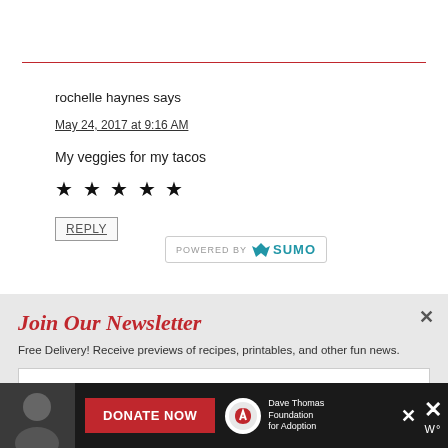rochelle haynes says
May 24, 2017 at 9:16 AM
My veggies for my tacos
★ ★ ★ ★ ★
REPLY
[Figure (logo): POWERED BY SUMO badge]
Join Our Newsletter
Free Delivery! Receive previews of recipes, printables, and other fun news.
Enter your email address
[Figure (infographic): Dave Thomas Foundation for Adoption donation advertisement bar at bottom]